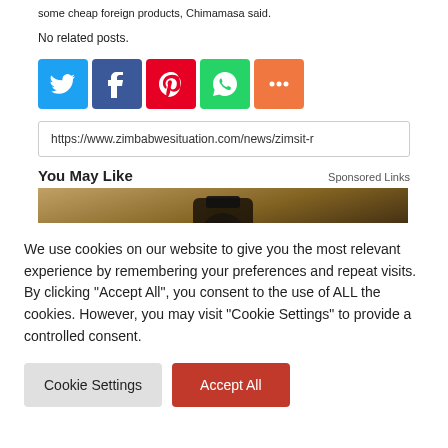some cheap foreign products, Chimamasa said.
No related posts.
[Figure (other): Social share icons: Twitter (blue), Facebook (blue), Pinterest (red), WhatsApp (green), More (orange)]
https://www.zimbabwesituation.com/news/zimsit-r
You May Like
Sponsored Links
[Figure (photo): Promotional image showing a dark lantern or light fixture mounted on a stone/textured wall]
We use cookies on our website to give you the most relevant experience by remembering your preferences and repeat visits. By clicking "Accept All", you consent to the use of ALL the cookies. However, you may visit "Cookie Settings" to provide a controlled consent.
Cookie Settings
Accept All